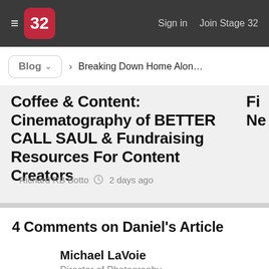≡ 32  Sign in  Join Stage 32
Blog ∨  Breaking Down Home Alone [For All "Ya...
Coffee & Content: Cinematography of BETTER CALL SAUL & Fundraising Resources For Content Creators
Richard RB Botto  ⏱ 2 days ago
4 Comments on Daniel's Article
Michael LaVoie
Director of Photography